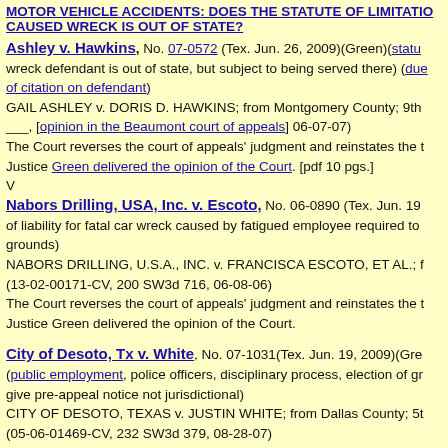MOTOR VEHICLE ACCIDENTS: DOES THE STATUTE OF LIMITATIONS TOLL WHEN THE PERSON WHO CAUSED WRECK IS OUT OF STATE?
Ashley v. Hawkins, No. 07-0572 (Tex. Jun. 26, 2009)(Green)(statute of limitations tolled while wreck defendant is out of state, but subject to being served there) (due process, service, substituted service, of citation on defendant)
GAIL ASHLEY v. DORIS D. HAWKINS; from Montgomery County; 9th district ___, [opinion in the Beaumont court of appeals] 06-07-07)
The Court reverses the court of appeals' judgment and reinstates the trial court's judgment.
Justice Green delivered the opinion of the Court. [pdf 10 pgs.]
V
Nabors Drilling, USA, Inc. v. Escoto, No. 06-0890 (Tex. Jun. 19, ...)(employer's vicarious liability for fatal car wreck caused by fatigued employee required to drive home from remote job site)(reversal grounds)
NABORS DRILLING, U.S.A., INC. v. FRANCISCA ESCOTO, ET AL.; from (13-02-00171-CV, 200 SW3d 716, 06-08-06)
The Court reverses the court of appeals' judgment and reinstates the trial court's judgment.
Justice Green delivered the opinion of the Court.
City of Desoto, Tx v. White, No. 07-1031(Tex. Jun. 19, 2009)(Green)(public employment, police officers, disciplinary process, election of grievance remedies, failure to give pre-appeal notice not jurisdictional)
CITY OF DESOTO, TEXAS v. JUSTIN WHITE; from Dallas County; 5th (05-06-01469-CV, 232 SW3d 379, 08-28-07)
The Court reverses the court of appeals' judgment and remands the case to the court of appeals.
Justice Green delivered the opinion of the Court.